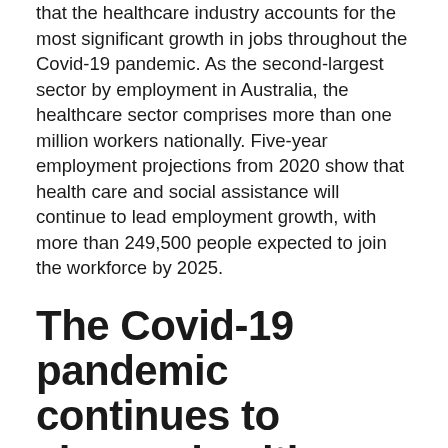that the healthcare industry accounts for the most significant growth in jobs throughout the Covid-19 pandemic. As the second-largest sector by employment in Australia, the healthcare sector comprises more than one million workers nationally. Five-year employment projections from 2020 show that health care and social assistance will continue to lead employment growth, with more than 249,500 people expected to join the workforce by 2025.
The Covid-19 pandemic continues to change healthcare
A silver lining of the Covid-19 pandemic is that it has created new opportunities to reconstruct our